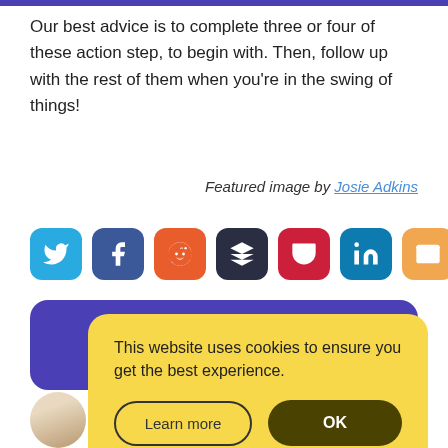Our best advice is to complete three or four of these action step, to begin with. Then, follow up with the rest of them when you're in the swing of things!
Featured image by Josie Adkins
[Figure (infographic): Row of 7 social sharing icon buttons: Twitter (blue), Facebook (dark blue), Reddit (orange), Buffer (dark/black), Pocket (red), LinkedIn (teal), Email (orange/yellow)]
[Figure (screenshot): Cookie consent popup overlay on yellow background reading 'This website uses cookies to ensure you get the best experience.' with 'Learn more' and 'OK' buttons, overlaid on a purple banner element.]